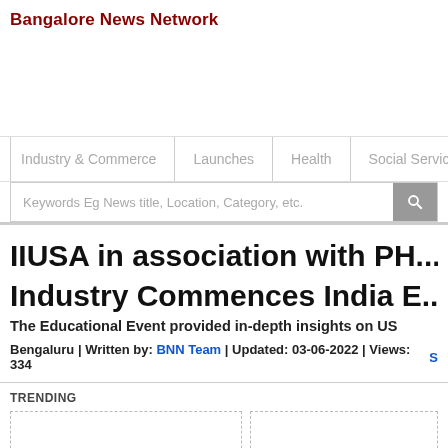Bangalore News Network
Industry & Commerce | Launches | Health | Social Service
Keywords Eg News title, Location, Category, etc.
IIUSA in association with PH... Industry Commences India E...
The Educational Event provided in-depth insights on US
Bengaluru | Written by: BNN Team | Updated: 03-06-2022 | Views: 334
TRENDING